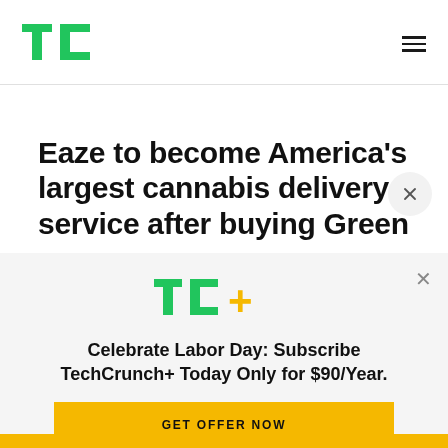TechCrunch logo and navigation menu
Eaze to become America’s largest cannabis delivery service after buying Green
[Figure (logo): TC+ TechCrunch Plus logo in green and yellow]
Celebrate Labor Day: Subscribe TechCrunch+ Today Only for $90/Year.
GET OFFER NOW